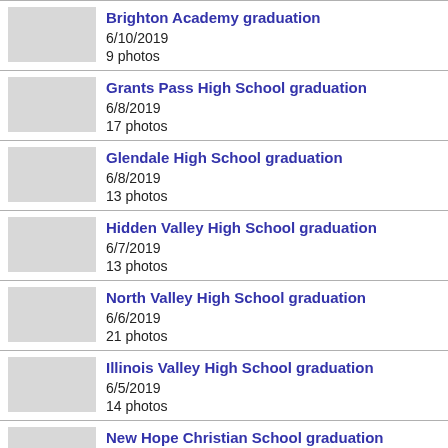Brighton Academy graduation
6/10/2019
9 photos
Grants Pass High School graduation
6/8/2019
17 photos
Glendale High School graduation
6/8/2019
13 photos
Hidden Valley High School graduation
6/7/2019
13 photos
North Valley High School graduation
6/6/2019
21 photos
Illinois Valley High School graduation
6/5/2019
14 photos
New Hope Christian School graduation
6/4/2019
13 photos